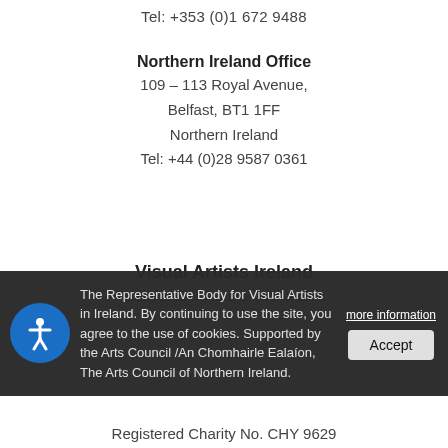Tel: +353 (0)1 672 9488
Northern Ireland Office
109 – 113 Royal Avenue,
Belfast, BT1 1FF
Northern Ireland
Tel: +44 (0)28 9587 0361
Visual Artists Ireland
Ealaíontóirí Radharcacha Éire
The Representative Body for Visual Artists in Ireland. By continuing to use the site, you agree to the use of cookies. Supported by the Arts Council /An Chomhairle Ealaíon, The Arts Council of Northern Ireland.
Registered Charity No. CHY 9629